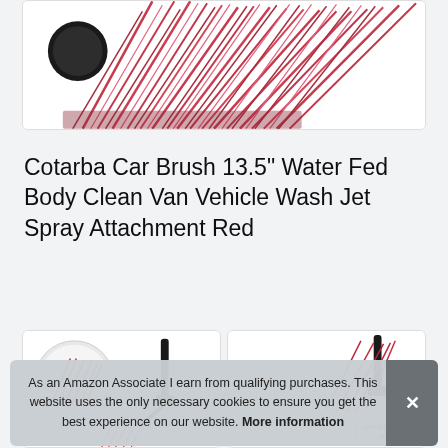[Figure (photo): Close-up photo of a red car wash brush head with dense red bristles against a white background, partially visible at top of page]
Cotarba Car Brush 13.5" Water Fed Body Clean Van Vehicle Wash Jet Spray Attachment Red
[Figure (photo): Two product thumbnail images side by side: left thumbnail shows the red car wash brush with a circular inset and hose attachment; right thumbnail shows brushes with anti-scratch soft bristle label]
As an Amazon Associate I earn from qualifying purchases. This website uses the only necessary cookies to ensure you get the best experience on our website. More information